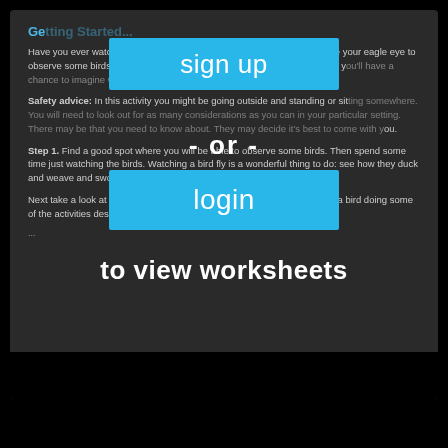[Figure (screenshot): A dark-themed webpage screenshot showing an educational activity about bird observation. Content is partially obscured by login/signup overlay prompts.]
Getting Started...
Have you ever watched a bird fly? Isn't it just amazing! You're going to use your eagle eye to observe some birds, thinking about what they do and how they move. And you'll have a chance to imagine what it's like to be a bird and why they do what they do.
Safety advice: In this activity you might be going outside and standing or sitting somewhere. You will need to look out for as many considerations as you can in your particular setting. There may be that you need to know about. They may decide it's best to come with you.
Step 1. Find a good spot where you will be able to observe some birds. Then spend some time just watching the birds. Watching a bird fly is a wonderful thing to do: see how they duck and weave and swoop and glide.
Next take a look at the Bird Observation Checklist and see if you can find a bird doing some of the activities described on this table. Add a tick or
- or -
login
to view worksheets
sign up